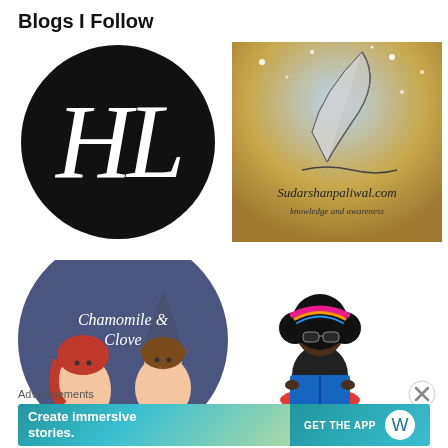Blogs I Follow
[Figure (logo): Black circle with white italic cursive letters HL]
[Figure (logo): Sparkly gold and blue background with feather quill and text: Sudarshanpaliwal.com, knowledge and awareness]
[Figure (logo): Dark blue circle with illustrated cartoon women and text: Chamomile & Clove]
[Figure (illustration): Cartoon bitmoji-style woman with afro hair, colorful headband, sunglasses, reading a blue book, sitting on red base]
[Figure (other): Circled X close button]
Advertisements
[Figure (screenshot): WordPress ad banner: Create immersive stories. GET THE APP with WordPress logo]